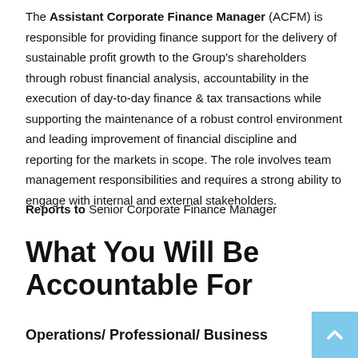The Assistant Corporate Finance Manager (ACFM) is responsible for providing finance support for the delivery of sustainable profit growth to the Group's shareholders through robust financial analysis, accountability in the execution of day-to-day finance & tax transactions while supporting the maintenance of a robust control environment and leading improvement of financial discipline and reporting for the markets in scope. The role involves team management responsibilities and requires a strong ability to engage with internal and external stakeholders.
Reports to Senior Corporate Finance Manager
What You Will Be Accountable For
Operations/ Professional/ Business